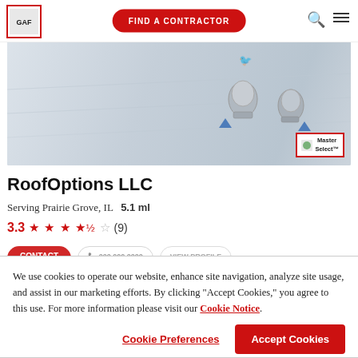[Figure (logo): GAF logo in red border box]
FIND A CONTRACTOR
[Figure (photo): Roofing photo showing white roof surface with metal ventilation units and a Master Select badge in bottom right corner]
RoofOptions LLC
Serving Prairie Grove, IL  5.1 ml
3.3  ★ ★ ★ ★½ ☆  (9)
We use cookies to operate our website, enhance site navigation, analyze site usage, and assist in our marketing efforts. By clicking "Accept Cookies," you agree to this use. For more information please visit our Cookie Notice.
Cookie Preferences
Accept Cookies